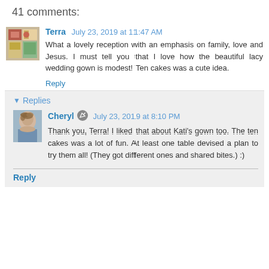41 comments:
Terra  July 23, 2019 at 11:47 AM
What a lovely reception with an emphasis on family, love and Jesus. I must tell you that I love how the beautiful lacy wedding gown is modest! Ten cakes was a cute idea.
Reply
▾ Replies
Cheryl  July 23, 2019 at 8:10 PM
Thank you, Terra! I liked that about Kati's gown too. The ten cakes was a lot of fun. At least one table devised a plan to try them all! (They got different ones and shared bites.) :)
Reply